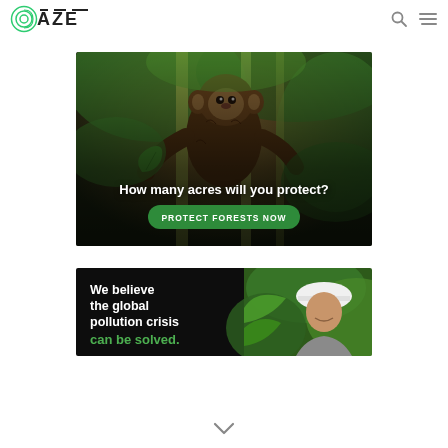OAZE
[Figure (photo): Brown monkey/primate sitting on bamboo branches in a green forest, with overlay text 'How many acres will you protect?' and a green button 'PROTECT FORESTS NOW']
[Figure (photo): Advertisement banner split: left black panel with white text 'We believe the global pollution crisis' and green text 'can be solved.' Right panel shows a man in a white hard hat among green leaves]